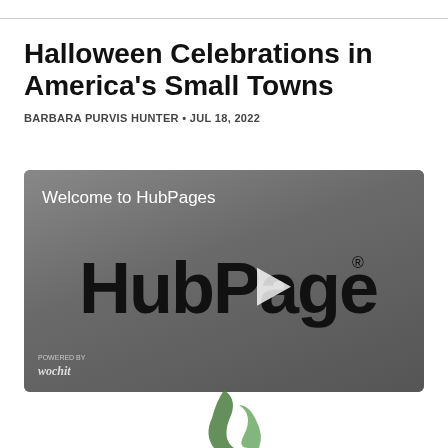Halloween Celebrations in America's Small Towns
BARBARA PURVIS HUNTER • JUL 18, 2022
[Figure (screenshot): Video player thumbnail showing HubPages logo on a grey background with a play button in the center. Text 'Welcome to HubPages' at top left. 'wochit' badge at bottom left.]
[Figure (logo): Partial green logo visible at bottom center of page]